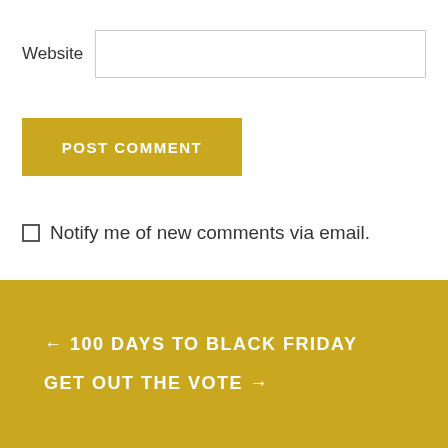Website
POST COMMENT
Notify me of new comments via email.
Notify me of new posts via email.
← 100 DAYS TO BLACK FRIDAY
GET OUT THE VOTE →